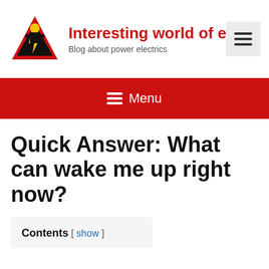[Figure (logo): Electrician worker logo with red/black triangle background and yellow hard hat]
Interesting world of e
Blog about power electrics
[Figure (other): Hamburger menu button icon (three horizontal lines)]
≡ Menu
Quick Answer: What can wake me up right now?
Contents [ show ]